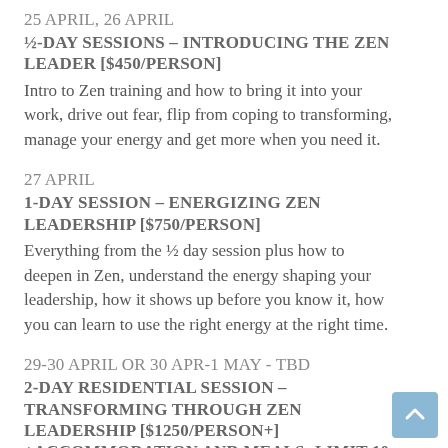25 APRIL, 26 APRIL
½-DAY SESSIONS – INTRODUCING THE ZEN LEADER [$450/PERSON]
Intro to Zen training and how to bring it into your work, drive out fear, flip from coping to transforming, manage your energy and get more when you need it.
27 APRIL
1-DAY SESSION – ENERGIZING ZEN LEADERSHIP [$750/PERSON]
Everything from the ½ day session plus how to deepen in Zen, understand the energy shaping your leadership, how it shows up before you know it, how you can learn to use the right energy at the right time.
29-30 APRIL OR 30 APR-1 MAY - TBD
2-DAY RESIDENTIAL SESSION – TRANSFORMING THROUGH ZEN LEADERSHIP [$1250/PERSON+] +ACCOMMODATION AND MEALS; LIMIT 10 PEOPLE
An immersion experience in a retreat setting: bring a